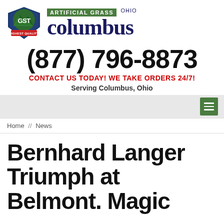[Figure (logo): GST Artificial Grass Columbus Ohio logo with GST shield emblem and text]
(877) 796-8873
CONTACT US TODAY! WE TAKE ORDERS 24/7!
Serving Columbus, Ohio
Home // News
Bernhard Langer Triumph at Belmont. Magic